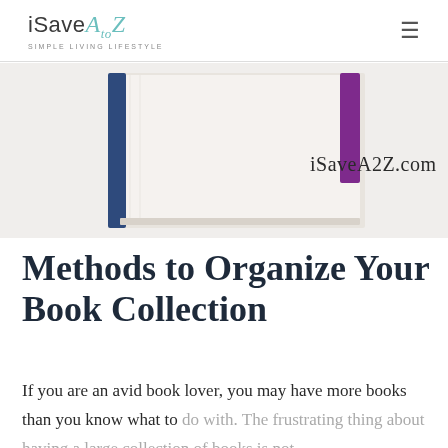iSaveAtoZ SIMPLE LIVING LIFESTYLE
[Figure (photo): Stack of books with blue and purple spines shot from above on a white background, with watermark text iSaveA2Z.com]
Methods to Organize Your Book Collection
If you are an avid book lover, you may have more books than you know what to do with. The frustrating thing about having a large collection of books is not